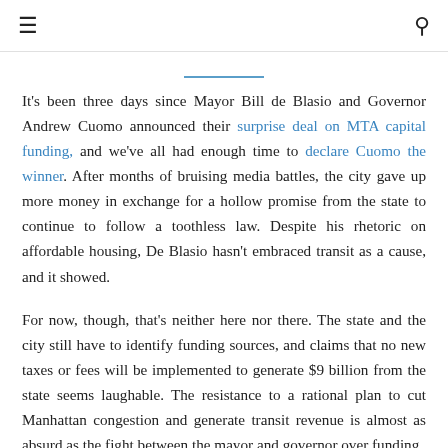≡  🔍
It's been three days since Mayor Bill de Blasio and Governor Andrew Cuomo announced their surprise deal on MTA capital funding, and we've all had enough time to declare Cuomo the winner. After months of bruising media battles, the city gave up more money in exchange for a hollow promise from the state to continue to follow a toothless law. Despite his rhetoric on affordable housing, De Blasio hasn't embraced transit as a cause, and it showed.
For now, though, that's neither here nor there. The state and the city still have to identify funding sources, and claims that no new taxes or fees will be implemented to generate $9 billion from the state seems laughable. The resistance to a rational plan to cut Manhattan congestion and generate transit revenue is almost as absurd as the fight between the mayor and governor over funding